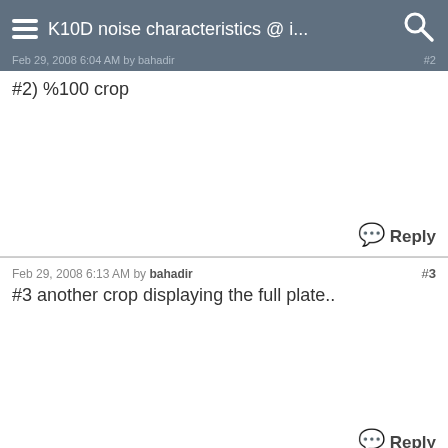K10D noise characteristics @ i...
Feb 29, 2008 6:04 AM by bahadir  #2
#2) %100 crop
Reply
Feb 29, 2008 6:13 AM by bahadir  #3
#3 another crop displaying the full plate..
Reply
Feb 29, 2008 6:30 AM by JohnG  #4
bahadir wrote: